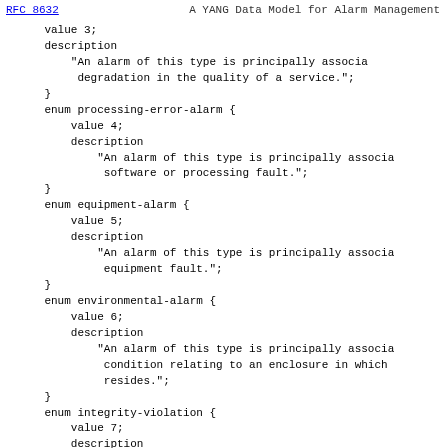RFC 8632    A YANG Data Model for Alarm Management
value 3;
    description
        "An alarm of this type is principally associa
         degradation in the quality of a service.";
}
enum processing-error-alarm {
    value 4;
    description
        "An alarm of this type is principally associa
         software or processing fault.";
}
enum equipment-alarm {
    value 5;
    description
        "An alarm of this type is principally associa
         equipment fault.";
}
enum environmental-alarm {
    value 6;
    description
        "An alarm of this type is principally associa
         condition relating to an enclosure in which
         resides.";
}
enum integrity-violation {
    value 7;
    description
        "An indication that information may have be